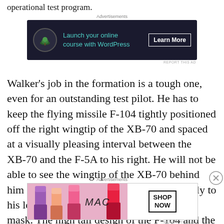operational test program.
[Figure (screenshot): Advertisement banner: dark navy background with bonsai tree icon, text 'Launch your online course with WordPress' in teal, and 'Learn More' button in white]
Walker's job in the formation is a tough one, even for an outstanding test pilot. He has to keep the flying missile F-104 tightly positioned off the right wingtip of the XB-70 and spaced at a visually pleasing interval between the XB-70 and the F-5A to his right. He will not be able to see the wingtip of the XB-70 behind him unless he cranes his neck uncomfortably to his left rear in his flight helmet and oxygen mask. The high tail design of the F-104 and the drooping right
[Figure (screenshot): Advertisement banner: MAC cosmetics ad with lipstick products and 'SHOP NOW' button]